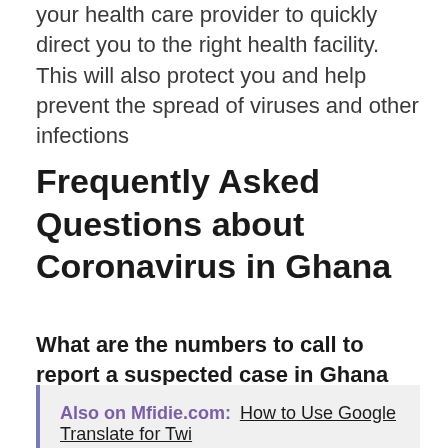your health care provider to quickly direct you to the right health facility. This will also protect you and help prevent the spread of viruses and other infections
Frequently Asked Questions about Coronavirus in Ghana
What are the numbers to call to report a suspected case in Ghana
Also on Mfidie.com: How to Use Google Translate for Twi